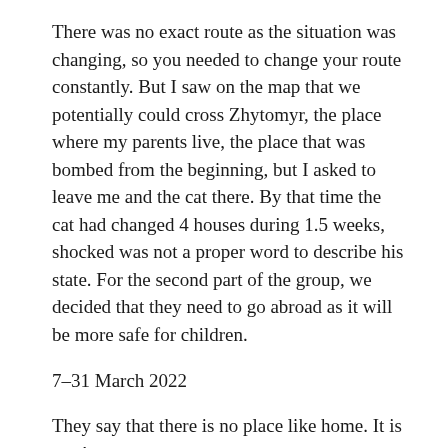There was no exact route as the situation was changing, so you needed to change your route constantly. But I saw on the map that we potentially could cross Zhytomyr, the place where my parents live, the place that was bombed from the beginning, but I asked to leave me and the cat there. By that time the cat had changed 4 houses during 1.5 weeks, shocked was not a proper word to describe his state. For the second part of the group, we decided that they need to go abroad as it will be more safe for children.
7–31 March 2022
They say that there is no place like home. It is true!